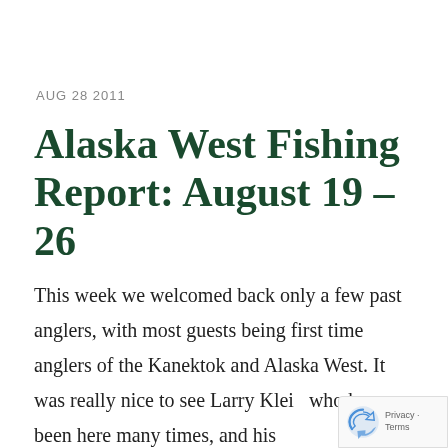AUG 28 2011
Alaska West Fishing Report: August 19 – 26
This week we welcomed back only a few past anglers, with most guests being first time anglers of the Kanektok and Alaska West. It was really nice to see Larry Klein who has been here many times, and his